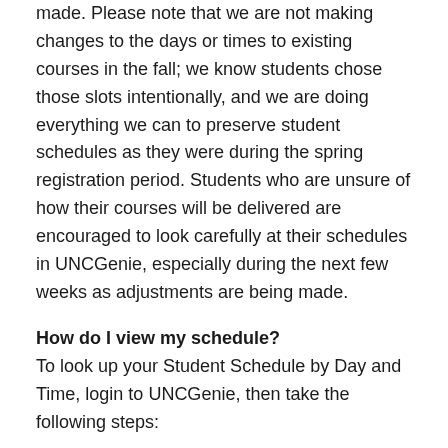telling them know that adjustments have been made. Please note that we are not making changes to the days or times to existing courses in the fall; we know students chose those slots intentionally, and we are doing everything we can to preserve student schedules as they were during the spring registration period. Students who are unsure of how their courses will be delivered are encouraged to look carefully at their schedules in UNCGenie, especially during the next few weeks as adjustments are being made.
How do I view my schedule?
To look up your Student Schedule by Day and Time, login to UNCGenie, then take the following steps:
Select Student Services and Financial Aid.
Select Registration.